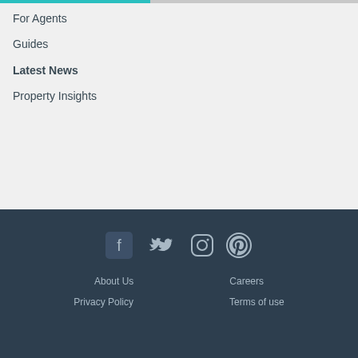For Agents
Guides
Latest News
Property Insights
[Figure (illustration): Social media icons: Facebook, Twitter, Instagram, Pinterest]
About Us
Careers
Privacy Policy
Terms of use